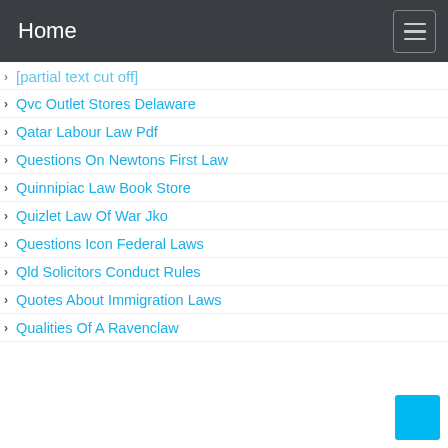Home
Qvc Outlet Stores Delaware
Qatar Labour Law Pdf
Questions On Newtons First Law
Quinnipiac Law Book Store
Quizlet Law Of War Jko
Questions Icon Federal Laws
Qld Solicitors Conduct Rules
Quotes About Immigration Laws
Qualities Of A Ravenclaw